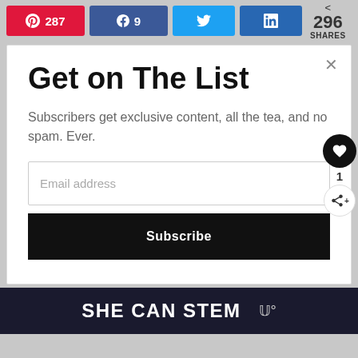[Figure (screenshot): Social share bar with Pinterest (287), Facebook (9), Twitter, LinkedIn buttons and total share count of 296]
Get on The List
Subscribers get exclusive content, all the tea, and no spam. Ever.
Email address
Subscribe
[Figure (logo): SHE CAN STEM footer banner with logo]
SHE CAN STEM